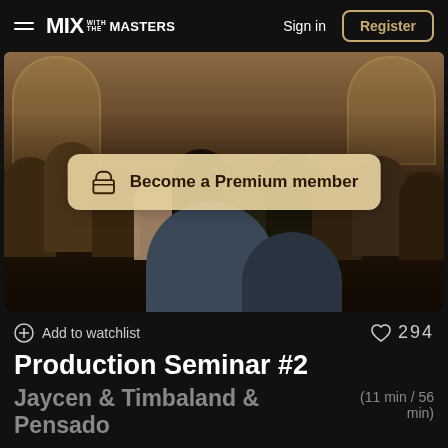MIX WITH THE MASTERS — Sign in | Register
[Figure (photo): Group of people gathered in a room with bookshelves and arched windows in the background. A semi-transparent button overlay reads 'Become a Premium member' with a lock/basket icon.]
Add to watchlist
294
Production Seminar #2
Jaycen & Timbaland & Pensado
(11 min / 56 min)